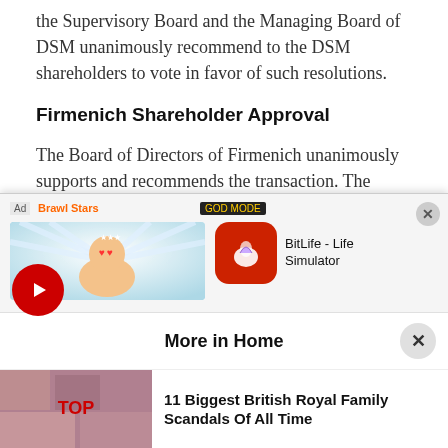the Supervisory Board and the Managing Board of DSM unanimously recommend to the DSM shareholders to vote in favor of such resolutions.
Firmenich Shareholder Approval
The Board of Directors of Firmenich unanimously supports and recommends the transaction. The Firmenich shareholders have approved the transaction.
[Figure (other): Mobile advertisement overlay showing BitLife - Life Simulator app ad with cartoon baby character and game branding]
More in Home
11 Biggest British Royal Family Scandals Of All Time